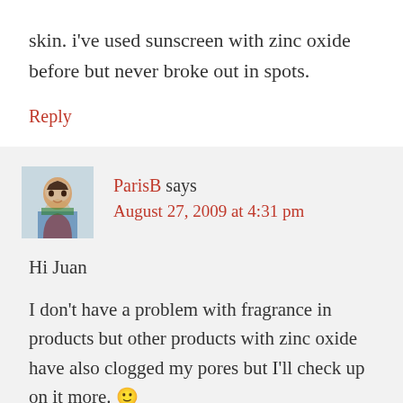skin. i've used sunscreen with zinc oxide before but never broke out in spots.
Reply
ParisB says
August 27, 2009 at 4:31 pm
Hi Juan
I don't have a problem with fragrance in products but other products with zinc oxide have also clogged my pores but I'll check up on it more. 🙂